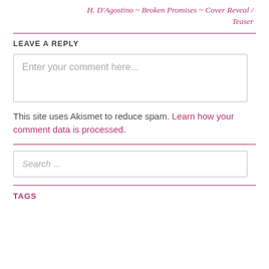H. D'Agostino ~ Broken Promises ~ Cover Reveal / Teaser
LEAVE A REPLY
Enter your comment here...
This site uses Akismet to reduce spam. Learn how your comment data is processed.
Search ...
TAGS